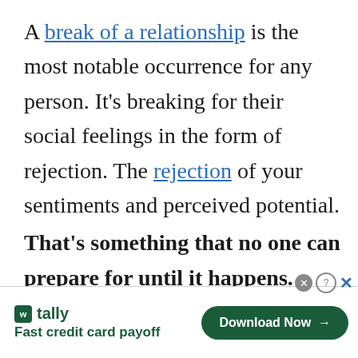A break of a relationship is the most notable occurrence for any person. It's breaking for their social feelings in the form of rejection. The rejection of your sentiments and perceived potential. That's something that no one can prepare for until it happens.
[Figure (other): Advertisement banner for Tally app: 'Fast credit card payoff' with a 'Download Now' button in dark green]